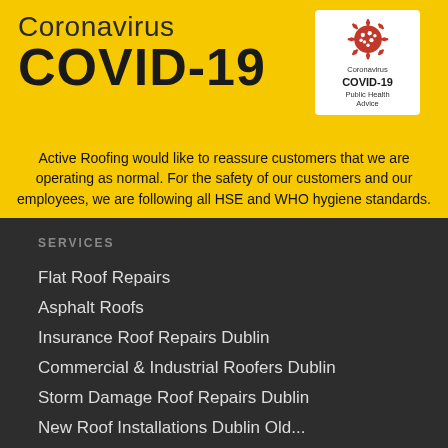[Figure (infographic): Yellow COVID-19 banner with Coronavirus COVID-19 text and virus badge image]
Active Roofing would like to reassure customers that we are operating as normal. For the safety of our customers and our employees, we are following all HSE and WHO hygiene standards.
SERVICES
Flat Roof Repairs
Asphalt Roofs
Insurance Roof Repairs Dublin
Commercial & Industrial Roofers Dublin
Storm Damage Roof Repairs Dublin
New Roof Installations Dublin Old...